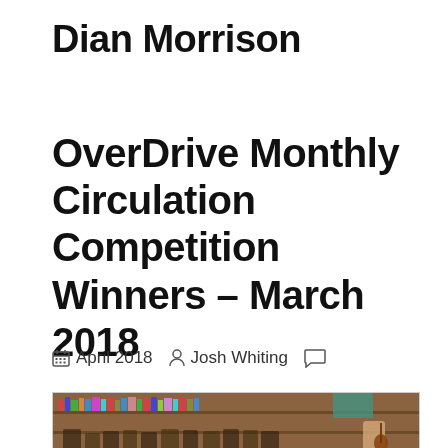Dian Morrison
OverDrive Monthly Circulation Competition Winners – March 2018
April 2018  Josh Whiting
[Figure (photo): Group photo of students and a person holding a guitar in a library/classroom with bookshelves in the background]